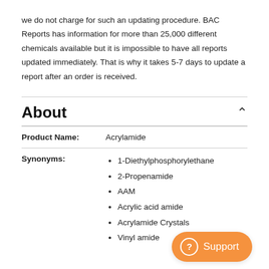we do not charge for such an updating procedure. BAC Reports has information for more than 25,000 different chemicals available but it is impossible to have all reports updated immediately. That is why it takes 5-7 days to update a report after an order is received.
About
| Product Name: | Acrylamide |
| Synonyms: | 1-Diethylphosphorylethane
2-Propenamide
AAM
Acrylic acid amide
Acrylamide Crystals
Vinyl amide |